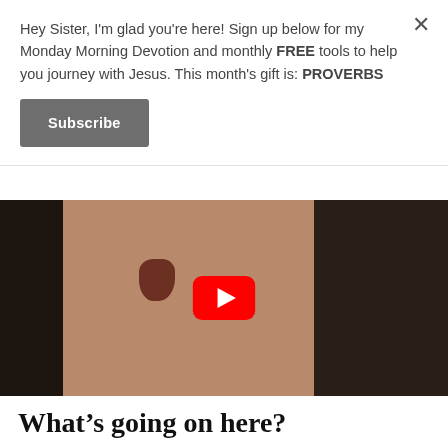Hey Sister, I'm glad you're here! Sign up below for my Monday Morning Devotion and monthly FREE tools to help you journey with Jesus. This month's gift is: PROVERBS
Subscribe
[Figure (screenshot): YouTube video thumbnail showing a blonde woman in a dark jacket, with a dark decorative Africa map on the wall behind her. A YouTube play button (red rounded rectangle with white triangle) is overlaid in the center.]
What's going on here?